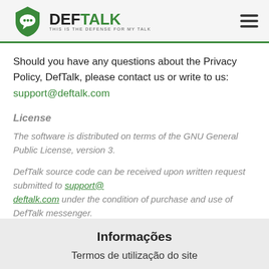DEFTALK — THIS IS THE DEFENSE FOR MY TALK
Should you have any questions about the Privacy Policy, DefTalk, please contact us or write to us: support@deftalk.com
License
The software is distributed on terms of the GNU General Public License, version 3.
DefTalk source code can be received upon written request submitted to support@deftalk.com under the condition of purchase and use of DefTalk messenger.
Informações
Termos de utilização do site